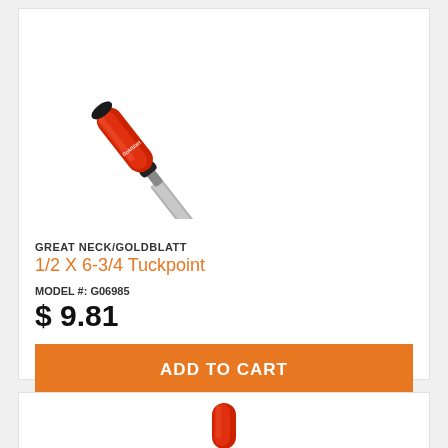[Figure (photo): A tuckpoint trowel with a red ergonomic handle (Goldblatt brand) and a narrow steel blade, shown diagonally on white background]
GREAT NECK/GOLDBLATT
1/2 X 6-3/4 Tuckpoint
MODEL #: G06985
$ 9.81
ADD TO CART
[Figure (photo): Bottom portion of a second product card, partially visible, showing a red tool handle at the bottom center]